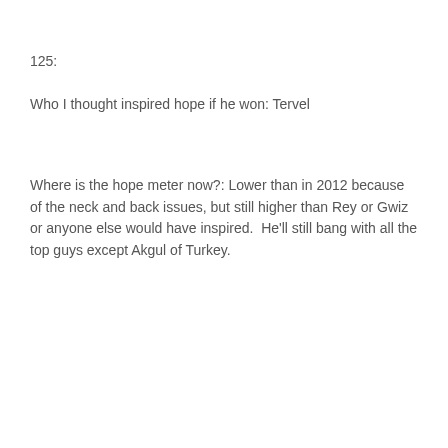125:
Who I thought inspired hope if he won: Tervel
Where is the hope meter now?: Lower than in 2012 because of the neck and back issues, but still higher than Rey or Gwiz or anyone else would have inspired.  He'll still bang with all the top guys except Akgul of Turkey.